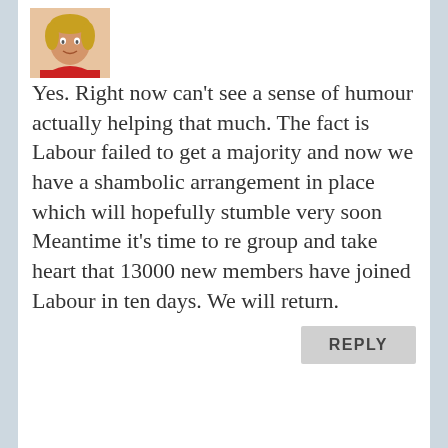[Figure (photo): Avatar/profile photo of a person in a red top, small thumbnail in upper left of comment]
Yes. Right now can't see a sense of humour actually helping that much. The fact is Labour failed to get a majority and now we have a shambolic arrangement in place which will hopefully stumble very soon Meantime it's time to re group and take heart that 13000 new members have joined Labour in ten days. We will return.
REPLY